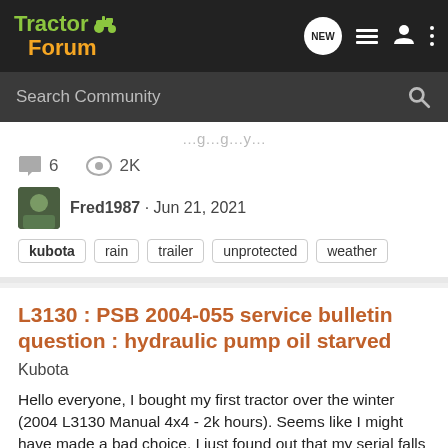TractorForum
Search Community
6  2K
Fred1987 · Jun 21, 2021
kubota  rain  trailer  unprotected  weather
L3130 : PSB 2004-055 service bulletin question : hydraulic pump oil starved
Kubota
Hello everyone, I bought my first tractor over the winter (2004 L3130 Manual 4x4 - 2k hours). Seems like I might have made a bad choice. I just found out that my serial falls into the tractors affected by PSB 2004-055. I attached the bulletin. Apparently when operating the backhoe (BH90 for